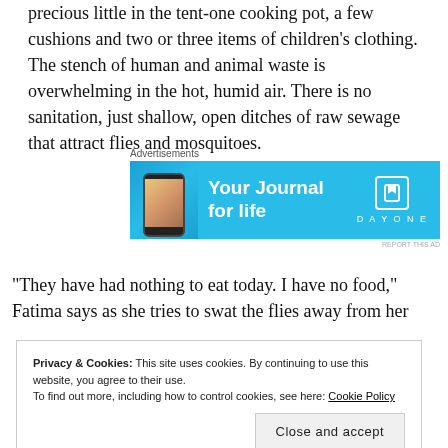precious little in the tent-one cooking pot, a few cushions and two or three items of children’s clothing. The stench of human and animal waste is overwhelming in the hot, humid air. There is no sanitation, just shallow, open ditches of raw sewage that attract flies and mosquitoes.
[Figure (other): Advertisement banner for DayOne journaling app. Blue background with phone image on left, text 'Your Journal for life' in white bold, and DAYONE logo with bookmark icon on right.]
“They have had nothing to eat today. I have no food,” Fatima says as she tries to swat the flies away from her
Privacy & Cookies: This site uses cookies. By continuing to use this website, you agree to their use. To find out more, including how to control cookies, see here: Cookie Policy